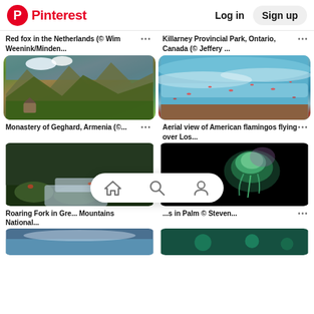Pinterest  Log in  Sign up
Red fox in the Netherlands (© Wim Weenink/Minden...
Killarney Provincial Park, Ontario, Canada (© Jeffery ...
[Figure (photo): Monastery of Geghard, Armenia - mountain landscape with monastery in forested hillside]
[Figure (photo): Aerial view of American flamingos flying over Los... - ocean waves with flamingos]
Monastery of Geghard, Armenia (©...
Aerial view of American flamingos flying over Los...
[Figure (photo): Roaring Fork in Great Smoky Mountains National Park - mossy rocks and waterfall]
[Figure (photo): Jellyfish in Palm ... © Steven... - glowing jellyfish on black background]
Roaring Fork in Gre... Mountains National...
...s in Palm © Steven...
[Figure (photo): Bottom left partial image - landscape]
[Figure (photo): Bottom right partial image - underwater scene]